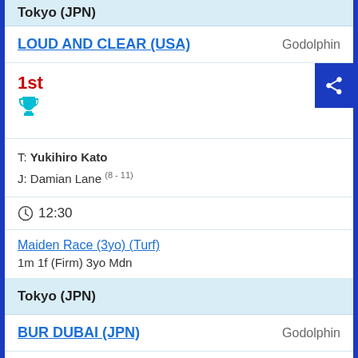Tokyo (JPN)
LOUD AND CLEAR (USA)   Godolphin
1st
T: Yukihiro Kato
J: Damian Lane (8 - 11)
12:30
Maiden Race (3yo) (Turf)
1m 1f (Firm) 3yo Mdn
Tokyo (JPN)
BUR DUBAI (JPN)   Godolphin
1st